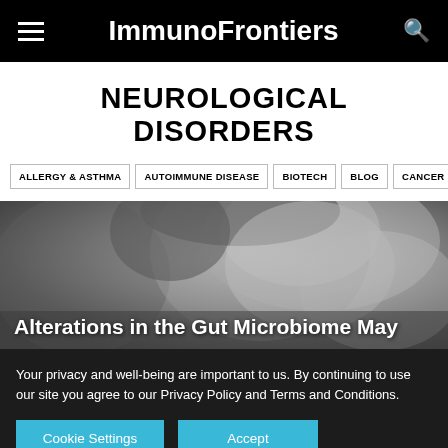ImmunoFrontiers
NEUROLOGICAL DISORDERS
ALLERGY & ASTHMA
AUTOIMMUNE DISEASE
BIOTECH
BLOG
CANCER
[Figure (photo): Black and white close-up photo of a child's face in profile, eyes closed]
Alterations in the Gut Microbiome May
Your privacy and well-being are important to us. By continuing to use our site you agree to our Privacy Policy and Terms and Conditions.
Cookie Settings   Accept